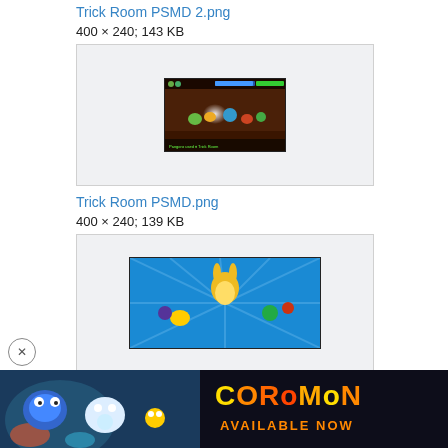Trick Room PSMD 2.png
400 × 240; 143 KB
[Figure (screenshot): Game screenshot of Trick Room PSMD 2 - Pokemon Super Mystery Dungeon battle scene with colorful characters on a dark reddish dungeon background]
Trick Room PSMD.png
400 × 240; 139 KB
[Figure (screenshot): Game screenshot of Trick Room PSMD - Pokemon Super Mystery Dungeon showing underwater scene with yellow rabbit-like Pokemon and others on blue background, with Coromon advertisement banner at bottom]